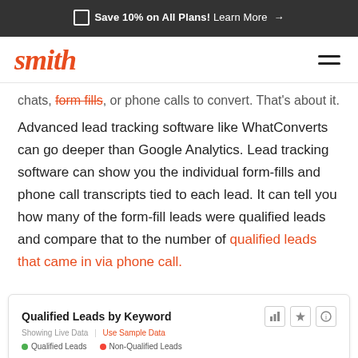🔲 Save 10% on All Plans! Learn More →
[Figure (logo): smith logo in orange italic script, hamburger menu icon on right]
chats, form fills, or phone calls to convert. That's about it.
Advanced lead tracking software like WhatConverts can go deeper than Google Analytics. Lead tracking software can show you the individual form-fills and phone call transcripts tied to each lead. It can tell you how many of the form-fill leads were qualified leads and compare that to the number of qualified leads that came in via phone call.
[Figure (screenshot): Widget showing 'Qualified Leads by Keyword' with Showing Live Data | Use Sample Data subtitle and legend showing Qualified Leads (green dot) and Non-Qualified Leads (red dot)]